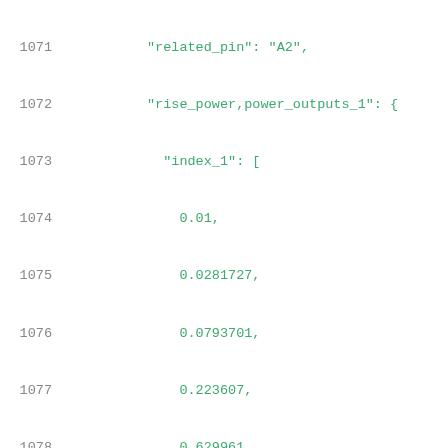Code listing lines 1071-1092 showing JSON structure with related_pin, rise_power, power_outputs_1, index_1, index_2 arrays and values key
1071: "related_pin": "A2",
1072: "rise_power,power_outputs_1": {
1073: "index_1": [
1074: 0.01,
1075: 0.0281727,
1076: 0.0793701,
1077: 0.223607,
1078: 0.629961,
1079: 1.77477,
1080: 5
1081: ],
1082: "index_2": [
1083: 0.0005,
1084: 0.0008201301,
1085: 0.001345227,
1086: 0.002206522,
1087: 0.003619271,
1088: 0.005936546,
1089: 0.00973748
1090: ],
1091: "values": [
1092: [